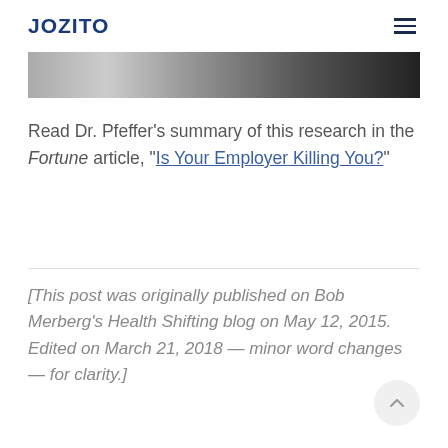JOZITO
[Figure (photo): Partial black and white photo strip visible at top of content area]
Read Dr. Pfeffer’s summary of this research in the Fortune article, “Is Your Employer Killing You?”
[This post was originally published on Bob Merberg’s Health Shifting blog on May 12, 2015. Edited on March 21, 2018 — minor word changes — for clarity.]